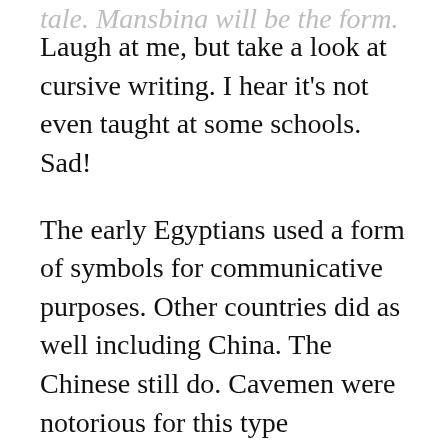tale. Mansbing will be the form. Laugh at me, but take a look at cursive writing. I hear it’s not even taught at some schools. Sad!
The early Egyptians used a form of symbols for communicative purposes. Other countries did as well including China. The Chinese still do. Cavemen were notorious for this type communication.
It seems we’re reverting back to those primitive methods. In some